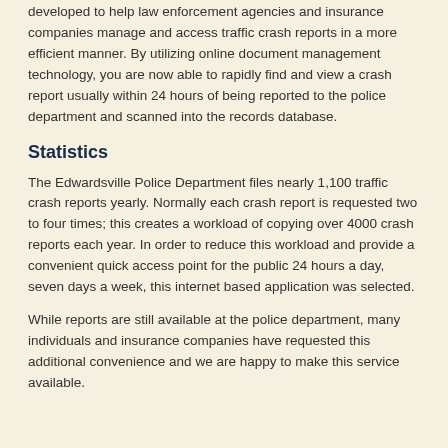developed to help law enforcement agencies and insurance companies manage and access traffic crash reports in a more efficient manner. By utilizing online document management technology, you are now able to rapidly find and view a crash report usually within 24 hours of being reported to the police department and scanned into the records database.
Statistics
The Edwardsville Police Department files nearly 1,100 traffic crash reports yearly. Normally each crash report is requested two to four times; this creates a workload of copying over 4000 crash reports each year. In order to reduce this workload and provide a convenient quick access point for the public 24 hours a day, seven days a week, this internet based application was selected.
While reports are still available at the police department, many individuals and insurance companies have requested this additional convenience and we are happy to make this service available.